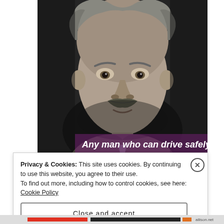[Figure (photo): Black and white photograph of Albert Einstein, showing his face and upper body, with distinctive mustache and wild gray hair. A quote overlay at the bottom reads: 'Any man who can drive safely while']
Privacy & Cookies: This site uses cookies. By continuing to use this website, you agree to their use.
To find out more, including how to control cookies, see here: Cookie Policy
Close and accept